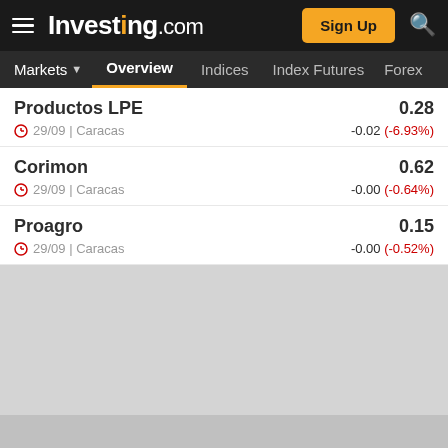Investing.com — Sign Up
Markets | Overview | Indices | Index Futures | Forex
Productos LPE
29/09 | Caracas
0.28
-0.02 (-6.93%)
Corimon
29/09 | Caracas
0.62
-0.00 (-0.64%)
Proagro
29/09 | Caracas
0.15
-0.00 (-0.52%)